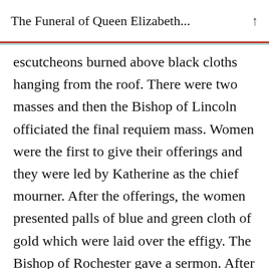The Funeral of Queen Elizabeth...
escutcheons burned above black cloths hanging from the roof. There were two masses and then the Bishop of Lincoln officiated the final requiem mass. Women were the first to give their offerings and they were led by Katherine as the chief mourner. After the offerings, the women presented palls of blue and green cloth of gold which were laid over the effigy. The Bishop of Rochester gave a sermon. After the sermon, the palls were removed and the ladies exited after symbolically burying the Queen with their palls. The prelates and the king�s chapel were left to perform the